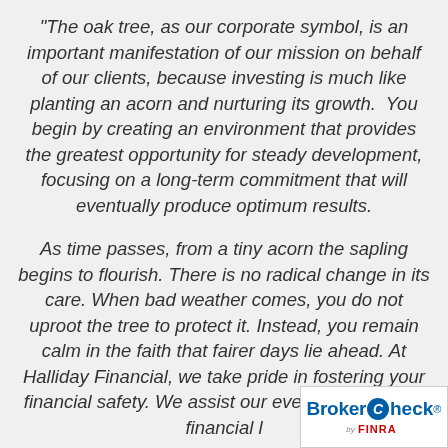“The oak tree, as our corporate symbol, is an important manifestation of our mission on behalf of our clients, because investing is much like planting an acorn and nurturing its growth.  You begin by creating an environment that provides the greatest opportunity for steady development, focusing on a long-term commitment that will eventually produce optimum results.

As time passes, from a tiny acorn the sapling begins to flourish. There is no radical change in its care. When bad weather comes, you do not uproot the tree to protect it. Instead, you remain calm in the faith that fairer days lie ahead. At Halliday Financial, we take pride in fostering your financial safety. We assist our every phase of the financial l
[Figure (logo): BrokerCheck by FINRA logo in bottom-right corner, white box with blue BrokerCheck text and red arrow, FINRA text below]